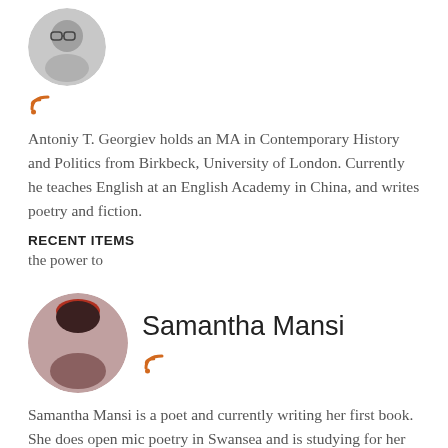[Figure (photo): Circular avatar photo of Antoniy T. Georgiev with glasses, with RSS feed icon below]
Antoniy T. Georgiev holds an MA in Contemporary History and Politics from Birkbeck, University of London. Currently he teaches English at an English Academy in China, and writes poetry and fiction.
RECENT ITEMS
the power to
[Figure (photo): Circular avatar photo of Samantha Mansi with dark hair]
Samantha Mansi
Samantha Mansi is a poet and currently writing her first book. She does open mic poetry in Swansea and is studying for her Masters degree in creative writing at the Open University. She enjoys going to open mics and expressing herself through poetry.
RECENT ITEMS
No Money in the Bank